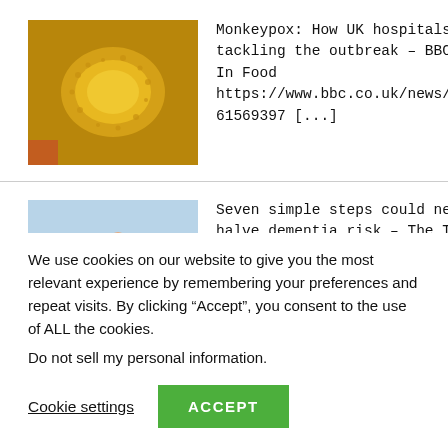[Figure (photo): Thumbnail image of monkeypox virus particle, golden/yellow color on dark background]
Monkeypox: How UK hospitals are tackling the outbreak – BBC
In Food
https://www.bbc.co.uk/news/health-61569397 [...]
[Figure (photo): Thumbnail image of a person in a yellow jacket walking a dog in a green field]
Seven simple steps could nearly halve dementia risk – The Times
In Food
https://www.thetimes.co.uk/article/h
healthlifestyle...dementia-risk-f...
We use cookies on our website to give you the most relevant experience by remembering your preferences and repeat visits. By clicking “Accept”, you consent to the use of ALL the cookies.
Do not sell my personal information.
Cookie settings
ACCEPT